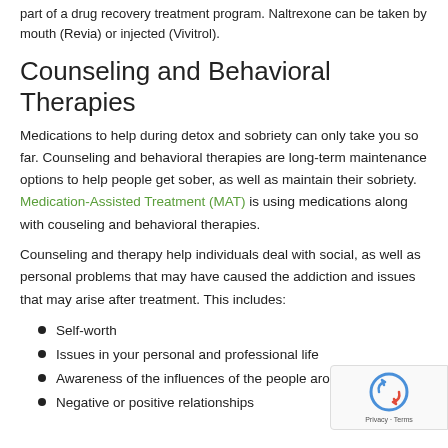part of a drug recovery treatment program. Naltrexone can be taken by mouth (Revia) or injected (Vivitrol).
Counseling and Behavioral Therapies
Medications to help during detox and sobriety can only take you so far. Counseling and behavioral therapies are long-term maintenance options to help people get sober, as well as maintain their sobriety. Medication-Assisted Treatment (MAT) is using medications along with couseling and behavioral therapies.
Counseling and therapy help individuals deal with social, as well as personal problems that may have caused the addiction and issues that may arise after treatment. This includes:
Self-worth
Issues in your personal and professional life
Awareness of the influences of the people around you
Negative or positive relationships